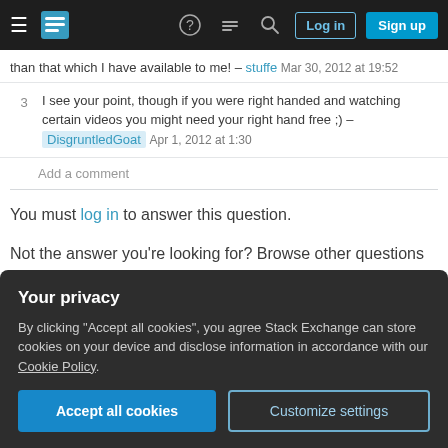Stack Exchange navigation bar with hamburger menu, logo, help, chat, search icons, Log in and Sign up buttons
than that which I have available to me! – stuffe Mar 30, 2012 at 19:52
3  I see your point, though if you were right handed and watching certain videos you might need your right hand free ;) – DisgruntledGoat  Apr 1, 2012 at 1:30
Add a comment
You must log in to answer this question.
Not the answer you're looking for? Browse other questions tagged  iphone .
Your privacy
By clicking "Accept all cookies", you agree Stack Exchange can store cookies on your device and disclose information in accordance with our Cookie Policy.
Accept all cookies
Customize settings